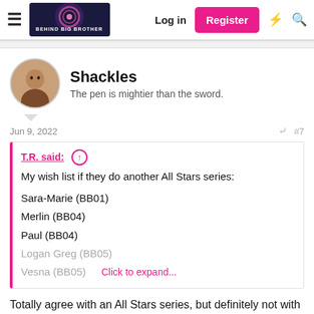Behind Big Brother — Log in | Register
Shackles
The pen is mightier than the sword.
Jun 9, 2022   #7
T.R. said: ↑
My wish list if they do another All Stars series:
Sara-Marie (BB01)
Merlin (BB04)
Paul (BB04)
Logan Greg (BB05)
Vesna (BB05)
Click to expand...
Totally agree with an All Stars series, but definitely not with the